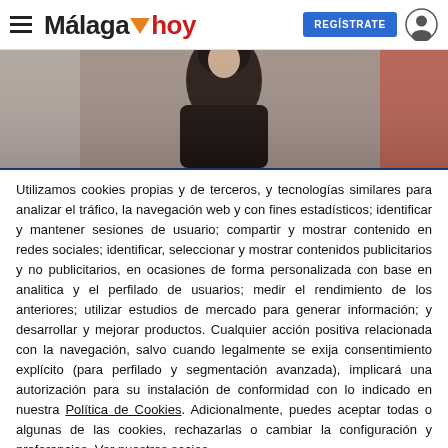Málaga hoy — REGÍSTRATE
[Figure (photo): Fashion model in dark dress, close-up, blurred runway background]
Utilizamos cookies propias y de terceros, y tecnologías similares para analizar el tráfico, la navegación web y con fines estadísticos; identificar y mantener sesiones de usuario; compartir y mostrar contenido en redes sociales; identificar, seleccionar y mostrar contenidos publicitarios y no publicitarios, en ocasiones de forma personalizada con base en analitica y el perfilado de usuarios; medir el rendimiento de los anteriores; utilizar estudios de mercado para generar información; y desarrollar y mejorar productos. Cualquier acción positiva relacionada con la navegación, salvo cuando legalmente se exija consentimiento explícito (para perfilado y segmentación avanzada), implicará una autorización para su instalación de conformidad con lo indicado en nuestra Política de Cookies. Adicionalmente, puedes aceptar todas o algunas de las cookies, rechazarlas o cambiar la configuración y preferencias. Ver nuestros socios
Nosotros y nuestros socios hacemos el siguiente tratamiento de datos:
Almacenar o acceder a información en un dispositivo, Anuncios y contenido personalizados, medición de anuncios y del contenido, información sobre el